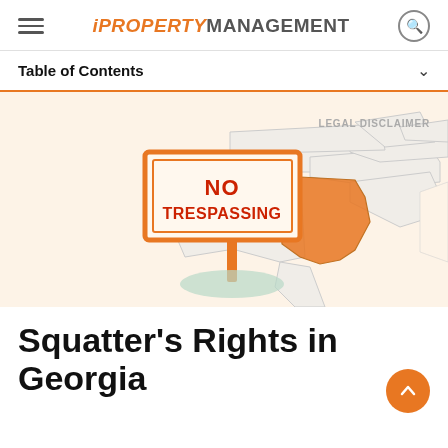iPROPERTY MANAGEMENT
Table of Contents
[Figure (illustration): Hero illustration showing a 'No Trespassing' sign on an orange post with a green oval shadow base, set against a map showing southeastern US states with Georgia highlighted in orange. 'LEGAL DISCLAIMER' text appears in upper right of the image.]
Squatter's Rights in Georgia